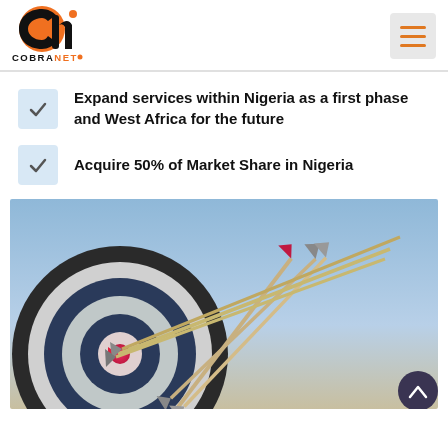[Figure (logo): CobraNet logo with orange and black CN icon and COBRANET text below]
Expand services within Nigeria as a first phase and West Africa for the future
Acquire 50% of Market Share in Nigeria
[Figure (photo): Photo of arrows hitting the bullseye of an archery target, dramatic blue sky background]